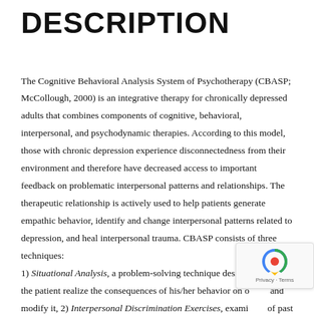DESCRIPTION
The Cognitive Behavioral Analysis System of Psychotherapy (CBASP; McCollough, 2000) is an integrative therapy for chronically depressed adults that combines components of cognitive, behavioral, interpersonal, and psychodynamic therapies. According to this model, those with chronic depression experience disconnectedness from their environment and therefore have decreased access to important feedback on problematic interpersonal patterns and relationships. The therapeutic relationship is actively used to help patients generate empathic behavior, identify and change interpersonal patterns related to depression, and heal interpersonal trauma. CBASP consists of three techniques: 1) Situational Analysis, a problem-solving technique designed to help the patient realize the consequences of his/her behavior on others and modify it, 2) Interpersonal Discrimination Exercises, examining of past traumatic experiences with others and differentiation of